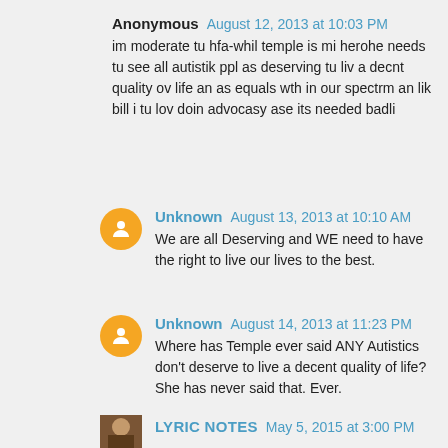Anonymous August 12, 2013 at 10:03 PM
im moderate tu hfa-whil temple is mi herohe needs tu see all autistik ppl as deserving tu liv a decnt quality ov life an as equals wth in our spectrm an lik bill i tu lov doin advocasy ase its needed badli
Unknown August 13, 2013 at 10:10 AM
We are all Deserving and WE need to have the right to live our lives to the best.
Unknown August 14, 2013 at 11:23 PM
Where has Temple ever said ANY Autistics don't deserve to live a decent quality of life? She has never said that. Ever.
LYRIC NOTES May 5, 2015 at 3:00 PM